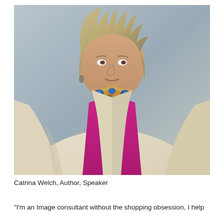[Figure (photo): Professional headshot of Catrina Welch, a woman with short blonde hair wearing a cream/beige zip-up jacket over a magenta/hot pink top, with a large decorative statement necklace featuring blue gemstones and jeweled pendants, photographed against a light gray background]
Catrina Welch, Author, Speaker
"I'm an Image consultant without the shopping obsession, I help